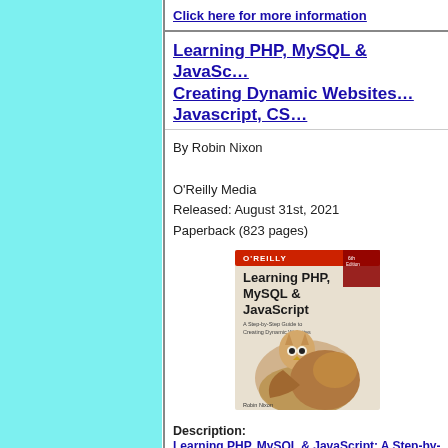Click here for more information
Learning PHP, MySQL & JavaScript: Creating Dynamic Websites with PHP, MySQL, Javascript, CSS & HTML5
By Robin Nixon
O'Reilly Media
Released: August 31st, 2021
Paperback (823 pages)
[Figure (photo): Book cover of Learning PHP, MySQL & JavaScript by Robin Nixon, O'Reilly Media. Shows an owl on a decorative animal figure. Subtitle: A Step-by-Step Guide to Creating Dynamic Websites. Author: Robin Nixon.]
Description:
Learning PHP, MySQL & JavaScript: A Step-by-Step Guide to Creating Dynamic Websites (Learning PHP, MYSQL, Javascript, CSS & HTML5)